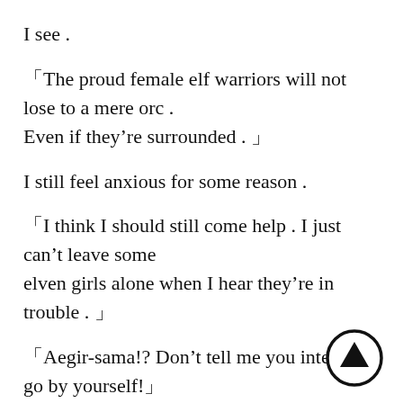I see .
「The proud female elf warriors will not lose to a mere orc . Even if they’re surrounded . 」
I still feel anxious for some reason .
「I think I should still come help . I just can’t leave some elven girls alone when I hear they’re in trouble . 」
「Aegir-sama!? Don’t tell me you intend to go by yourself!」
「That’s right, you should leave that to somebody else!」
I think about it for a bit .
Sending soldiers means either Leopolt or Tristan will have